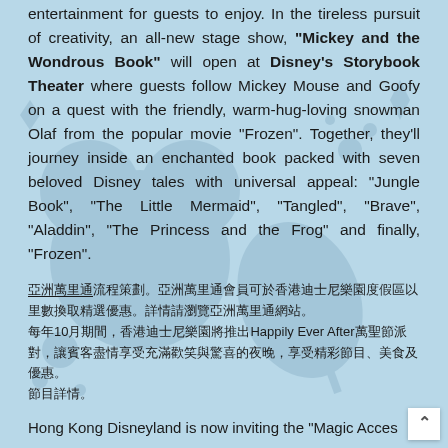entertainment for guests to enjoy. In the tireless pursuit of creativity, an all-new stage show, "Mickey and the Wondrous Book" will open at Disney's Storybook Theater where guests follow Mickey Mouse and Goofy on a quest with the friendly, warm-hug-loving snowman Olaf from the popular movie "Frozen". Together, they'll journey inside an enchanted book packed with seven beloved Disney tales with universal appeal: "Jungle Book", "The Little Mermaid", "Tangled", "Brave", "Aladdin", "The Princess and the Frog" and finally, "Frozen".
[CJK text] 10 [CJK text] Happily Ever After [CJK text]
Hong Kong Disneyland is now inviting the "Magic Acces...